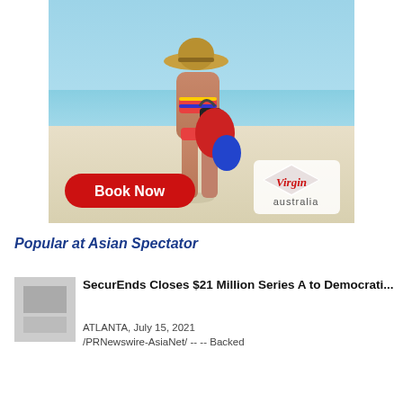[Figure (photo): Advertisement for Virgin Australia showing a woman in a bikini and hat standing on a white sandy beach viewed from behind, holding colorful bags. A red 'Book Now' button is overlaid at the bottom left, and the Virgin Australia logo is at the bottom right.]
Popular at Asian Spectator
[Figure (photo): Thumbnail image placeholder for article]
SecurEnds Closes $21 Million Series A to Democrati...
ATLANTA, July 15, 2021
/PRNewswire-AsiaNet/ -- -- Backed